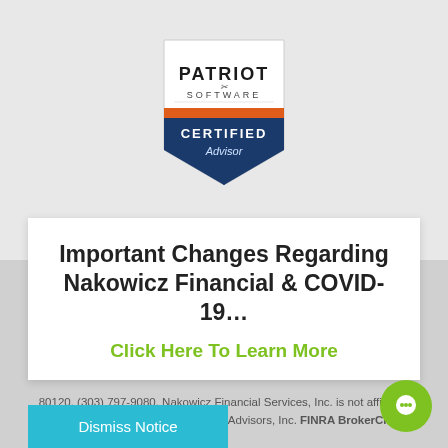[Figure (logo): Patriot Software Certified Advisor badge — shield-shaped logo with orange stripe, dark blue lower section, white upper section with Patriot Software text and scissors icon, CERTIFIED Advisor text in white on blue]
© Nakowicz Financial Services | Privacy Policy
Important Changes Regarding Nakowicz Financial & COVID-19…
Click Here To Learn More
Dismiss Notice
80120, (303) 797-9080. Nakowicz Financial Services, Inc. is not affiliated with The Leaders Group, Inc. or TLG Advisors, Inc. FINRA BrokerCheck